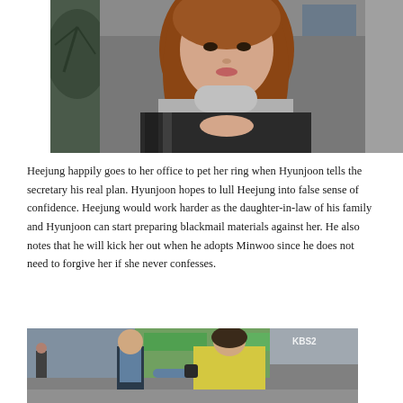[Figure (photo): A young woman with long reddish-brown hair wearing a grey turtleneck sweater and black and white patterned top, sitting at a desk looking at something in her hands. A plant is visible in the background.]
Heejung happily goes to her office to pet her ring when Hyunjoon tells the secretary his real plan. Hyunjoon hopes to lull Heejung into false sense of confidence. Heejung would work harder as the daughter-in-law of his family and Hyunjoon can start preparing blackmail materials against her. He also notes that he will kick her out when he adopts Minwoo since he does not need to forgive her if she never confesses.
[Figure (photo): Two people standing on a street — a man in a dark vest over a light blue shirt and a woman in a yellow jacket, appearing to have a conversation. A KBS2 watermark is visible in the upper right corner.]